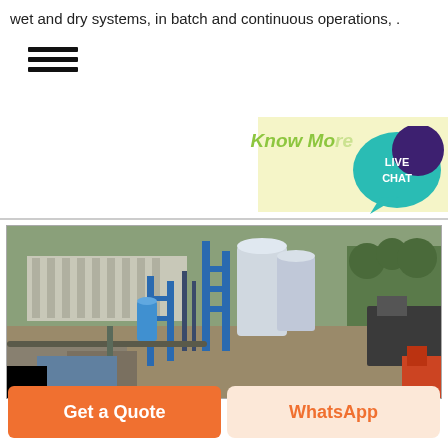wet and dry systems, in batch and continuous operations, .
[Figure (photo): Aerial view of an industrial mixing/grinding plant with blue steel structures, silos, tanks, and processing equipment in an outdoor facility.]
Know More
[Figure (illustration): Live Chat speech bubble icon in teal/dark purple with text LIVE CHAT]
Get a Quote
WhatsApp